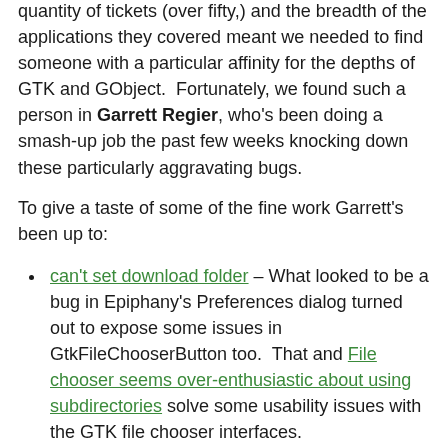quantity of tickets (over fifty,) and the breadth of the applications they covered meant we needed to find someone with a particular affinity for the depths of GTK and GObject. Fortunately, we found such a person in Garrett Regier, who's been doing a smash-up job the past few weeks knocking down these particularly aggravating bugs.
To give a taste of some of the fine work Garrett's been up to:
can't set download folder – What looked to be a bug in Epiphany's Preferences dialog turned out to expose some issues in GtkFileChooserButton too. That and File chooser seems over-enthusiastic about using subdirectories solve some usability issues with the GTK file chooser interfaces.
"Location" column would be helpful for search results and Open the directory of a search result/recent file – Both first filed in 2006, Nautilus now lets you know where to find the files you searched for and can open those folders in a new window.